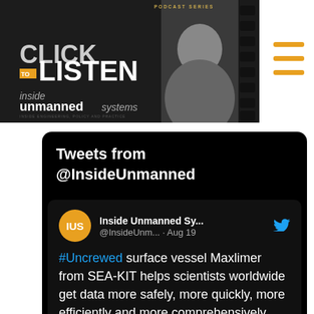[Figure (screenshot): Click to Listen podcast banner for Inside Unmanned Systems magazine, with film strip design and a person wearing headphones]
Tweets from @InsideUnmanned
[Figure (screenshot): Tweet from Inside Unmanned Sy... @InsideUnm... · Aug 19: #Uncrewed surface vessel Maxlimer from SEA-KIT helps scientists worldwide get data more safely, more quickly, more efficiently and more comprehensively. @InfoSEAKIT insideunmannedsystems.com/uncrewe]